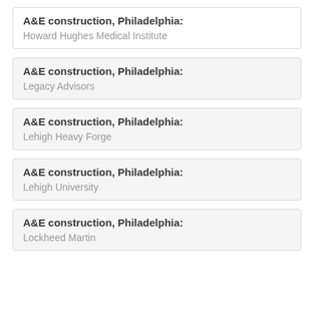A&E construction, Philadelphia:
Howard Hughes Medical Institute
A&E construction, Philadelphia:
Legacy Advisors
A&E construction, Philadelphia:
Lehigh Heavy Forge
A&E construction, Philadelphia:
Lehigh University
A&E construction, Philadelphia:
Lockheed Martin